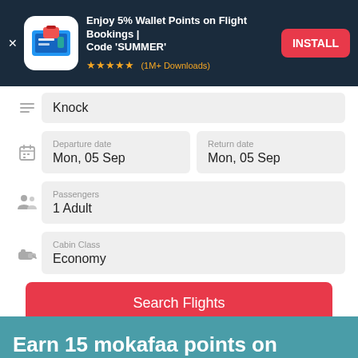[Figure (screenshot): App advertisement banner with dark navy background showing a travel/wallet app icon, text 'Enjoy 5% Wallet Points on Flight Bookings | Code SUMMER', 5 gold stars with '(1M+ Downloads)', and a red INSTALL button]
Knock
Departure date
Mon, 05 Sep
Return date
Mon, 05 Sep
Passengers
1 Adult
Cabin Class
Economy
Search Flights
Earn 15 mokafaa points on